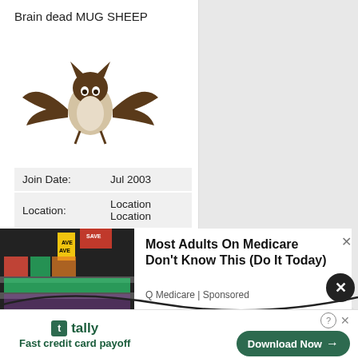Brain dead MUG SHEEP
[Figure (photo): Stuffed bat toy plush with wings spread]
| Join Date: | Jul 2003 |
| Location: | Location Location |
| Posts: | 59,348 |
[Figure (other): Twitter Follow @EasyTen button]
Advertising
[Figure (photo): Grocery store produce and shelves with SAVE signs]
Most Adults On Medicare Don't Know This (Do It Today)
Q Medicare | Sponsored
[Figure (other): Tally app advertisement - Fast credit card payoff with Download Now button]